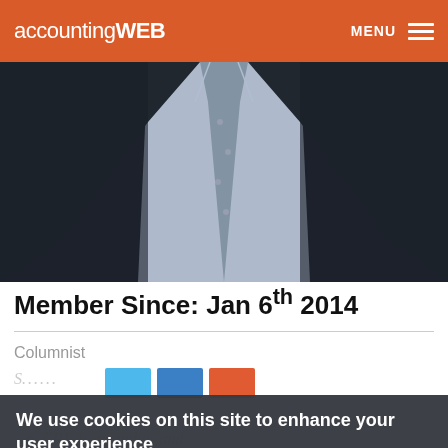accountingWEB  MENU
[Figure (photo): Close-up photo of a man in a dark suit with a patterned tie and light blue dress shirt, torso visible only]
Member Since: Jan 6th 2014
Columnist
We use cookies on this site to enhance your user experience
To give you the best possible experience, personalise content and ads, this site uses Cookies. Continuing to use the site you agree we may place these cookies on your device. You can view our Privacy Policy for more details.
No, give me more info
...n, CPA, is an author and